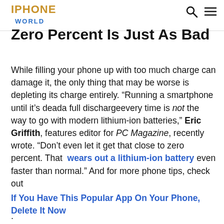IPHONE WORLD
Zero Percent Is Just As Bad
While filling your phone up with too much charge can damage it, the only thing that may be worse is depleting its charge entirely. “Running a smartphone until it’s deada full dischargeevery time is not the way to go with modern lithium-ion batteries,” Eric Griffith, features editor for PC Magazine, recently wrote. “Don’t even let it get that close to zero percent. That wears out a lithium-ion battery even faster than normal.” And for more phone tips, check out If You Have This Popular App On Your Phone, Delete It Now .